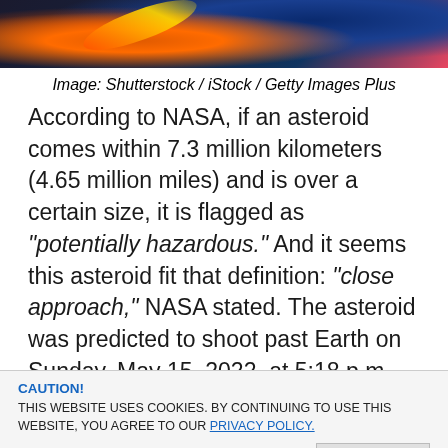[Figure (photo): Space scene showing an asteroid or meteor with fire streaks against a dark starry sky with Earth visible in the background]
Image: Shutterstock / iStock / Getty Images Plus
According to NASA, if an asteroid comes within 7.3 million kilometers (4.65 million miles) and is over a certain size, it is flagged as "potentially hazardous." And it seems this asteroid fit that definition: "close approach," NASA stated. The asteroid was predicted to shoot past Earth on Sunday, May 15, 2022, at 5:18 p.m. EDT and 21:18 GMT, traveling at a speed of just over 28,970 kilometers per hour (18,000 miles per hour). Fast
CAUTION!
THIS WEBSITE USES COOKIES. BY CONTINUING TO USE THIS WEBSITE, YOU AGREE TO OUR PRIVACY POLICY.